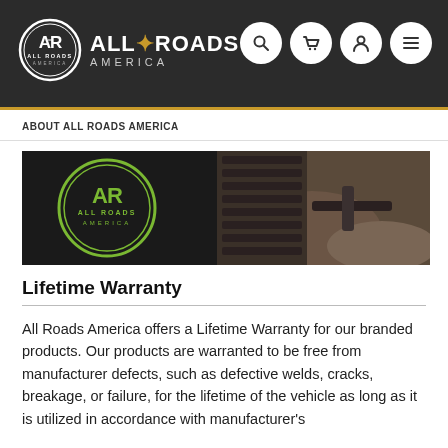ALL ROADS AMERICA (navigation bar with logo and icons)
ABOUT ALL ROADS AMERICA
[Figure (photo): All Roads America branded hero image showing the green AR logo on the left and an off-road vehicle tire/suspension on the right, with rocky terrain background.]
Lifetime Warranty
All Roads America offers a Lifetime Warranty for our branded products. Our products are warranted to be free from manufacturer defects, such as defective welds, cracks, breakage, or failure, for the lifetime of the vehicle as long as it is utilized in accordance with manufacturer's